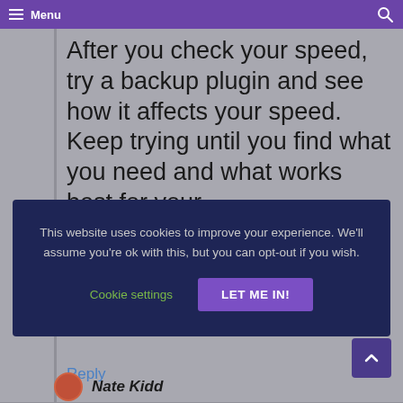Menu
After you check your speed, try a backup plugin and see how it affects your speed. Keep trying until you find what you need and what works best for your
This website uses cookies to improve your experience. We'll assume you're ok with this, but you can opt-out if you wish.
Cookie settings
LET ME IN!
Reply
Nate Kidd